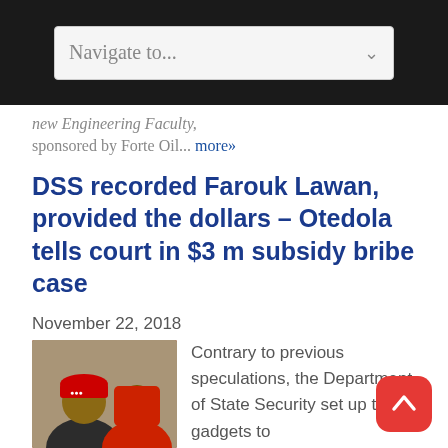Navigate to...
new Engineering Faculty, sponsored by Forte Oil... more»
DSS recorded Farouk Lawan, provided the dollars – Otedola tells court in $3 m subsidy bribe case
November 22, 2018
Contrary to previous speculations, the Department of State Security set up the gadgets to record... more»
My chances are bright –